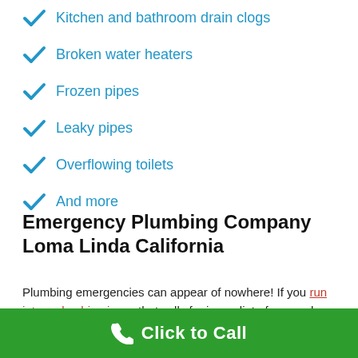Kitchen and bathroom drain clogs
Broken water heaters
Frozen pipes
Leaky pipes
Overflowing toilets
And more
Emergency Plumbing Company Loma Linda California
Plumbing emergencies can appear of nowhere! If you run into a plumbing issue that calls for immediate focus, rely on a plumber you recognize you can rely on.
Click to Call